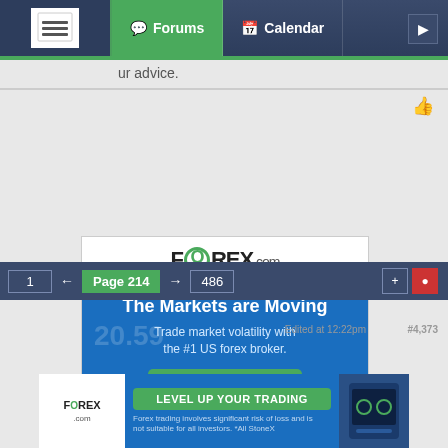Forums | Calendar
ur advice.
[Figure (screenshot): FOREX.com advertisement banner. White logo area at top with FOREX.com text. Blue section with headline 'The Markets are Moving', subtext 'Trade market volatility with the #1 US forex broker.', a green LEARN MORE button, and currency coin images (GBP, JPY, USD, EUR). Bottom disclaimer: 'Trading during times of volatility is extremely risky and not suitable for all investors.']
1 ← Page 214 → 486
[Figure (screenshot): FOREX.com bottom advertisement strip. White logo on left. Green LEVEL UP YOUR TRADING button in center. Fine print: 'Forex trading involves significant risk of loss and is not suitable for all investors. *All StoneX'. Mobile app screenshot on right.]